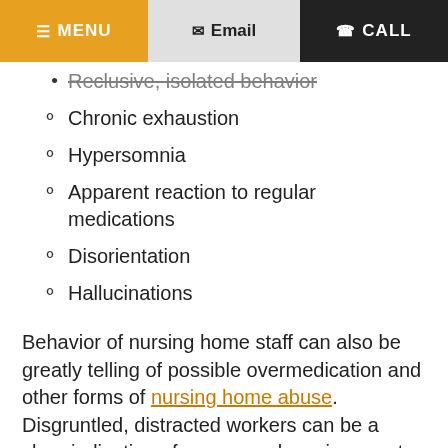MENU | Email | CALL
Reclusive, isolated behavior
Chronic exhaustion
Hypersomnia
Apparent reaction to regular medications
Disorientation
Hallucinations
Behavior of nursing home staff can also be greatly telling of possible overmedication and other forms of nursing home abuse. Disgruntled, distracted workers can be a clear indication of a poor work environment.